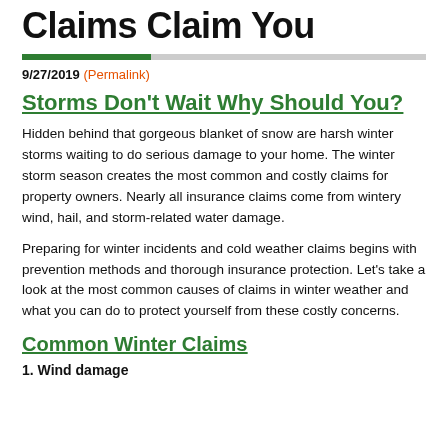Claims Claim You
9/27/2019 (Permalink)
Storms Don't Wait Why Should You?
Hidden behind that gorgeous blanket of snow are harsh winter storms waiting to do serious damage to your home. The winter storm season creates the most common and costly claims for property owners. Nearly all insurance claims come from wintery wind, hail, and storm-related water damage.
Preparing for winter incidents and cold weather claims begins with prevention methods and thorough insurance protection. Let's take a look at the most common causes of claims in winter weather and what you can do to protect yourself from these costly concerns.
Common Winter Claims
1. Wind damage